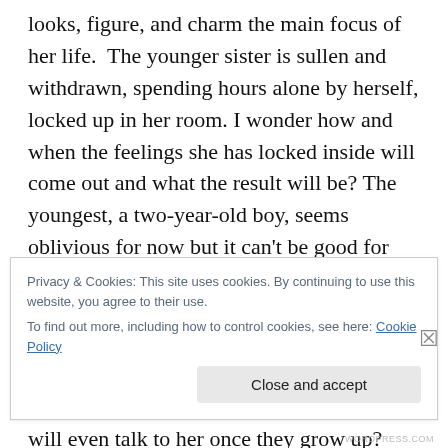looks, figure, and charm the main focus of her life.  The younger sister is sullen and withdrawn, spending hours alone by herself, locked up in her room. I wonder how and when the feelings she has locked inside will come out and what the result will be? The youngest, a two-year-old boy, seems oblivious for now but it can't be good for him to the the center of all the fighting and power struggles with his father and the other guys in and out of the picture, something Vixen doesn't try to shield him or the older two from.  I wonder if her kids will even talk to her once they grow up?
Privacy & Cookies: This site uses cookies. By continuing to use this website, you agree to their use.
To find out more, including how to control cookies, see here: Cookie Policy